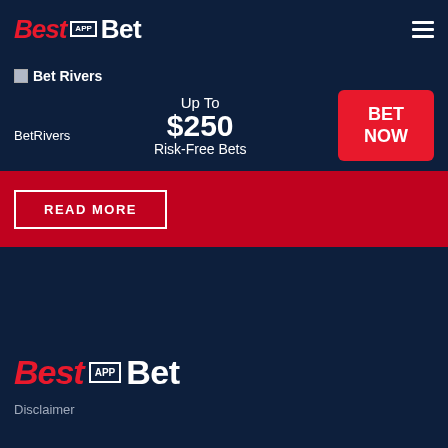Best APP Bet
[Figure (logo): Bet Rivers logo placeholder image]
BetRivers
Up To $250 Risk-Free Bets
BET NOW
READ MORE
[Figure (logo): BestAppBet footer logo]
Disclaimer